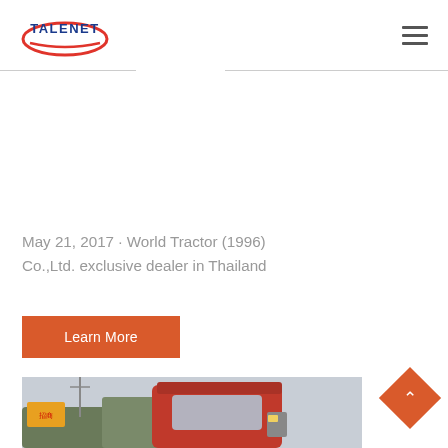TALENET
May 21, 2017 · World Tractor (1996) Co.,Ltd. exclusive dealer in Thailand
Learn More
[Figure (photo): A red semi-truck/tractor cab photographed outdoors, with trees and signage visible in the background.]